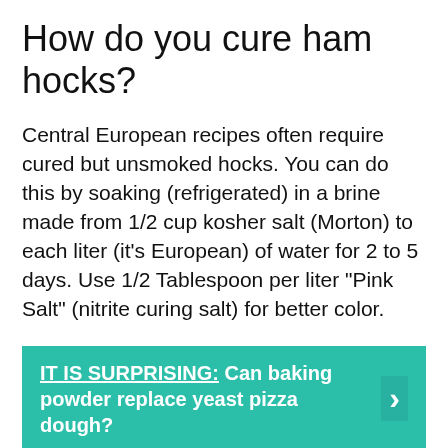How do you cure ham hocks?
Central European recipes often require cured but unsmoked hocks. You can do this by soaking (refrigerated) in a brine made from 1/2 cup kosher salt (Morton) to each liter (it’s European) of water for 2 to 5 days. Use 1/2 Tablespoon per liter “Pink Salt” (nitrite curing salt) for better color.
IT IS SURPRISING: Can baking powder replace yeast pizza dough?
Do you wash ham hock before cooking?